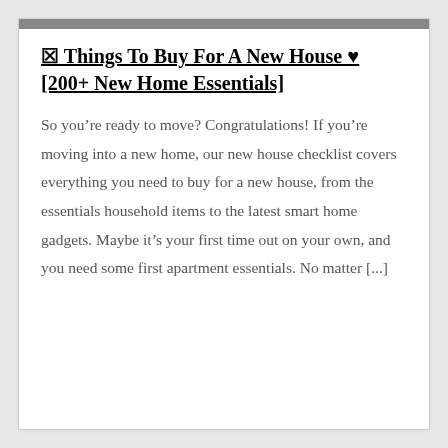✖ Things To Buy For A New House ♥ [200+ New Home Essentials]
So you're ready to move? Congratulations! If you're moving into a new home, our new house checklist covers everything you need to buy for a new house, from the essentials household items to the latest smart home gadgets. Maybe it's your first time out on your own, and you need some first apartment essentials. No matter [...]